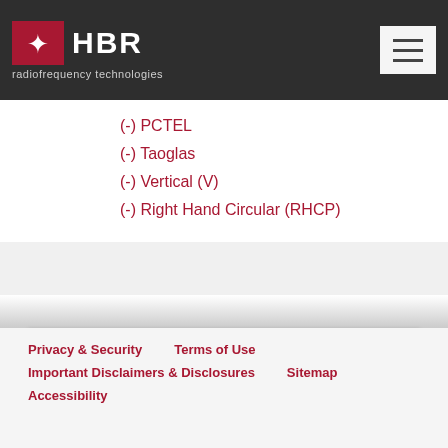HBR radiofrequency technologies
(-) PCTEL
(-) Taoglas
(-) Vertical (V)
(-) Right Hand Circular (RHCP)
Search
Privacy & Security   Terms of Use   Important Disclaimers & Disclosures   Sitemap   Accessibility